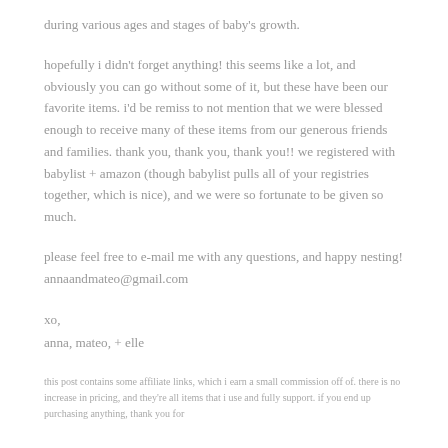during various ages and stages of baby's growth.
hopefully i didn't forget anything! this seems like a lot, and obviously you can go without some of it, but these have been our favorite items. i'd be remiss to not mention that we were blessed enough to receive many of these items from our generous friends and families. thank you, thank you, thank you!! we registered with babylist + amazon (though babylist pulls all of your registries together, which is nice), and we were so fortunate to be given so much.
please feel free to e-mail me with any questions, and happy nesting! annaandmateo@gmail.com
xo,
anna, mateo, + elle
this post contains some affiliate links, which i earn a small commission off of. there is no increase in pricing, and they're all items that i use and fully support. if you end up purchasing anything, thank you for